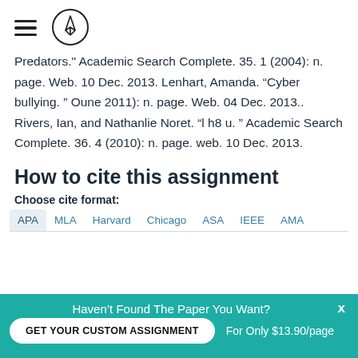[hamburger menu icon] [logo icon]
Predators." Academic Search Complete. 35. 1 (2004): n. page. Web. 10 Dec. 2013. Lenhart, Amanda. “Cyber bullying. ” Oune 2011): n. page. Web. 04 Dec. 2013.. Rivers, Ian, and Nathanlie Noret. “l h8 u. ” Academic Search Complete. 36. 4 (2010): n. page. web. 10 Dec. 2013.
How to cite this assignment
Choose cite format:
APA   MLA   Harvard   Chicago   ASA   IEEE   AMA
Haven't Found The Paper You Want? GET YOUR CUSTOM ASSIGNMENT   For Only $13.90/page